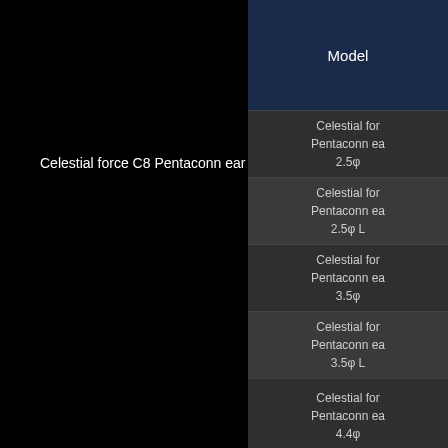Celestial force C8 Pentaconn ear Short 4.4φ L
| Model |
| --- |
| Celestial for
Pentaconn ea
2.5φ |
| Celestial for
Pentaconn ea
2.5φ L |
| Celestial for
Pentaconn ea
3.5φ |
| Celestial for
Pentaconn ea
3.5φ L |
| Celestial for
Pentaconn ea
4.4φ |
PAGETOP